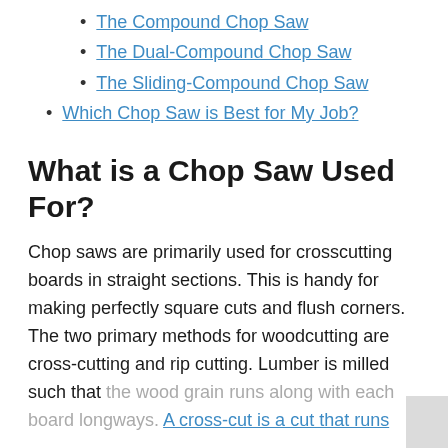The Compound Chop Saw
The Dual-Compound Chop Saw
The Sliding-Compound Chop Saw
Which Chop Saw is Best for My Job?
What is a Chop Saw Used For?
Chop saws are primarily used for crosscutting boards in straight sections. This is handy for making perfectly square cuts and flush corners. The two primary methods for woodcutting are cross-cutting and rip cutting. Lumber is milled such that the wood grain runs along with each board longways. A cross-cut is a cut that runs